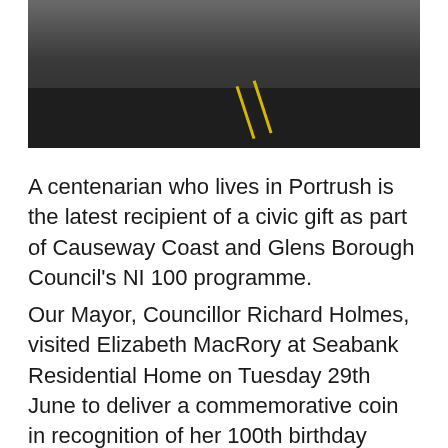[Figure (photo): Outdoor photo showing people's feet and lower legs standing on a dark tarmac car park surface with yellow parking lines. Orange flowers and a plant pot visible on the left.]
A centenarian who lives in Portrush is the latest recipient of a civic gift as part of Causeway Coast and Glens Borough Council's NI 100 programme.
Our Mayor, Councillor Richard Holmes, visited Elizabeth MacRory at Seabank Residential Home on Tuesday 29th June to deliver a commemorative coin in recognition of her 100th birthday